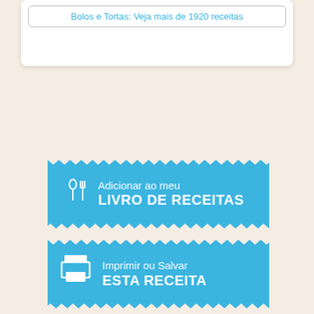Bolos e Tortas: Veja mais de 1920 receitas
[Figure (infographic): Blue zigzag banner button: Adicionar ao meu LIVRO DE RECEITAS with fork and spoon icon]
[Figure (infographic): Blue zigzag banner button: Imprimir ou Salvar ESTA RECEITA with printer icon]
[Figure (infographic): Green zigzag banner button: Envie pelo WHATSAPP with WhatsApp icon]
[Figure (infographic): Blue/dark blue zigzag banner button: Curta no Facebook / Layon Oliveira with Facebook icon]